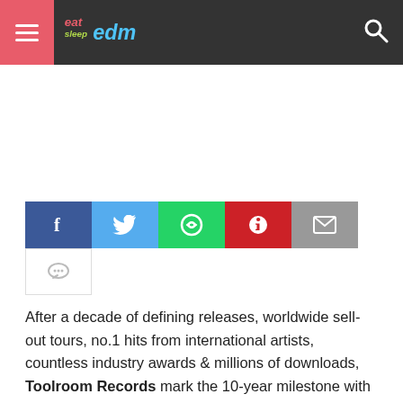Eat Sleep EDM – navigation header with hamburger menu and search icon
[Figure (infographic): Advertisement / blank white space area]
[Figure (infographic): Social share buttons: Facebook, Twitter, WhatsApp, Pinterest, Email, Comments]
After a decade of defining releases, worldwide sell-out tours, no.1 hits from international artists, countless industry awards & millions of downloads, Toolroom Records mark the 10-year milestone with a landmark release from Sander van Doorn, Mark